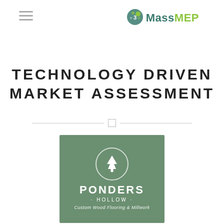[Figure (logo): MassMEP logo with gear/dot icon, 'Mass' in teal and 'MEP' in green]
TECHNOLOGY DRIVEN MARKET ASSESSMENT
[Figure (logo): Ponders Hollow company logo — green square with white tree in circle, text 'PONDERS HOLLOW · Custom Wood Flooring & Millwork']